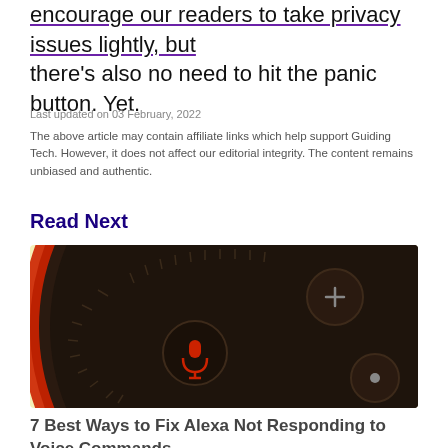encourage our readers to take privacy issues lightly, but there's also no need to hit the panic button. Yet.
Last updated on 03 February, 2022
The above article may contain affiliate links which help support Guiding Tech. However, it does not affect our editorial integrity. The content remains unbiased and authentic.
Read Next
[Figure (photo): Close-up photo of an Amazon Echo Dot smart speaker showing the top surface with a glowing red ring, a muted microphone button lit in red, volume and action buttons, on a light yellow background.]
7 Best Ways to Fix Alexa Not Responding to Voice Commands